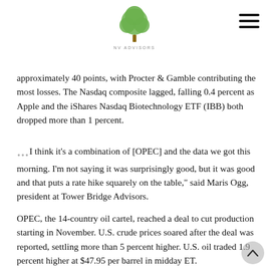NV ADVISORS [logo with tree icon and hamburger menu]
approximately 40 points, with Procter & Gamble contributing the most losses. The Nasdaq composite lagged, falling 0.4 percent as Apple and the iShares Nasdaq Biotechnology ETF (IBB) both dropped more than 1 percent.
"...I think it's a combination of [OPEC] and the data we got this morning. I'm not saying it was surprisingly good, but it was good and that puts a rate hike squarely on the table," said Maris Ogg, president at Tower Bridge Advisors.
OPEC, the 14-country oil cartel, reached a deal to cut production starting in November. U.S. crude prices soared after the deal was reported, settling more than 5 percent higher. U.S. oil traded 1.9 percent higher at $47.95 per barrel in midday ET.
"I do not foresee Wednesday's news as the catalyst that sends the broader indices out of their tortuous range from the past three months. Member states have a history of cheating their quotas to limit any potential gains," said Jeremy Klein, chief market strategist at FBN Securities. "The geopolitical tensions among those sitting down in Algiers may also force a termination of the agreement